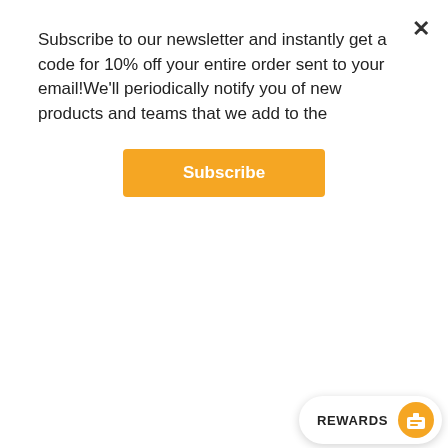Subscribe to our newsletter and instantly get a code for 10% off your entire order sent to your email!We'll periodically notify you of new products and teams that we add to the
Subscribe
[Figure (logo): Orange vintage soccer ball logo with 'VINTAGE' banner text on brown background]
[Figure (photo): Blue sports jersey/shirt partially visible]
REWARDS